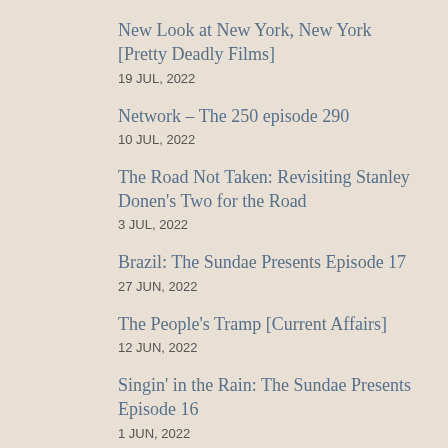New Look at New York, New York [Pretty Deadly Films]
19 JUL, 2022
Network – The 250 episode 290
10 JUL, 2022
The Road Not Taken: Revisiting Stanley Donen's Two for the Road
3 JUL, 2022
Brazil: The Sundae Presents Episode 17
27 JUN, 2022
The People's Tramp [Current Affairs]
12 JUN, 2022
Singin' in the Rain: The Sundae Presents Episode 16
1 JUN, 2022